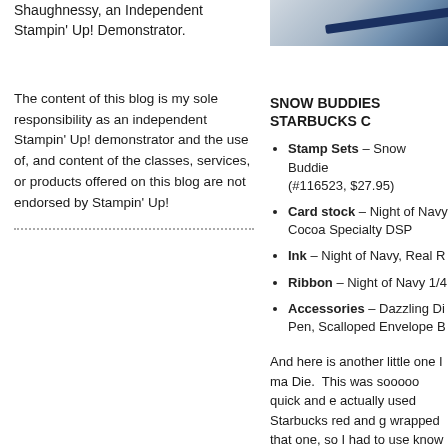Shaughnessy, an Independent Stampin' Up! Demonstrator.
[Figure (photo): Close-up photo of a dark navy blue ribbon on a light background]
The content of this blog is my sole responsibility as an independent Stampin' Up! demonstrator and the use of, and content of the classes, services, or products offered on this blog are not endorsed by Stampin' Up!
SNOW BUDDIES STARBUCKS C
Stamp Sets – Snow Buddie (#116523, $27.95)
Card stock – Night of Navy Cocoa Specialty DSP
Ink – Night of Navy, Real R
Ribbon – Night of Navy 1/4
Accessories – Dazzling Di Pen, Scalloped Envelope B
And here is another little one I ma Die.  This was sooooo quick and e actually used Starbucks red and g wrapped that one, so I had to use know why I didn't line the whole in thinking?  Next time...  Use some